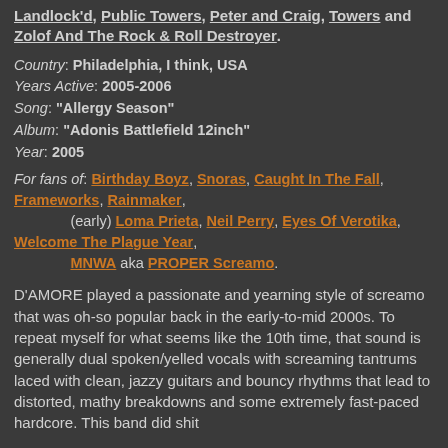Landlock'd, Public Towers, Peter and Craig, Towers and Zolof And The Rock & Roll Destroyer.
Country: Philadelphia, I think, USA
Years Active: 2005-2006
Song: "Allergy Season"
Album: "Adonis Battlefield 12inch"
Year: 2005
For fans of: Birthday Boyz, Snoras, Caught In The Fall, Frameworks, Rainmaker, (early) Loma Prieta, Neil Perry, Eyes Of Verotika, Welcome The Plague Year, MNWA aka PROPER Screamo.
D'AMORE played a passionate and yearning style of screamo that was oh-so popular back in the early-to-mid 2000s. To repeat myself for what seems like the 10th time, that sound is generally dual spoken/yelled vocals with screaming tantrums laced with clean, jazzy guitars and bouncy rhythms that lead to distorted, mathy breakdowns and some extremely fast-paced hardcore. This band did shit